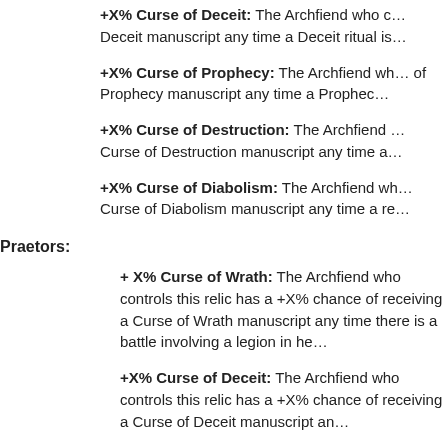+X% Curse of Deceit: The Archfiend who controls this relic has a +X% chance of receiving a Deceit manuscript any time a Deceit ritual is performed.
+X% Curse of Prophecy: The Archfiend who controls this relic has a +X% chance of receiving a Curse of Prophecy manuscript any time a Prophecy ritual is performed.
+X% Curse of Destruction: The Archfiend who controls this relic has a +X% chance of receiving a Curse of Destruction manuscript any time a Destruction ritual is performed.
+X% Curse of Diabolism: The Archfiend who controls this relic has a +X% chance of receiving a Curse of Diabolism manuscript any time a relevant ritual is performed.
Praetors:
+ X% Curse of Wrath: The Archfiend who controls this relic has a +X% chance of receiving a Curse of Wrath manuscript any time there is a battle involving a legion in her domain.
+X% Curse of Deceit: The Archfiend who controls this relic has a +X% chance of receiving a Curse of Deceit manuscript any time...